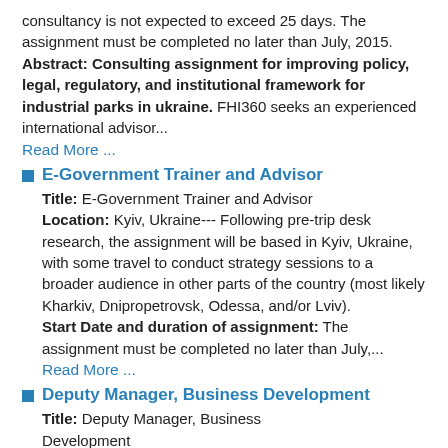consultancy is not expected to exceed 25 days. The assignment must be completed no later than July, 2015. Abstract: Consulting assignment for improving policy, legal, regulatory, and institutional framework for industrial parks in ukraine. FHI360 seeks an experienced international advisor...
Read More ...
E-Government Trainer and Advisor
Title: E-Government Trainer and Advisor
Location: Kyiv, Ukraine--- Following pre-trip desk research, the assignment will be based in Kyiv, Ukraine, with some travel to conduct strategy sessions to a broader audience in other parts of the country (most likely Kharkiv, Dnipropetrovsk, Odessa, and/or Lviv).
Start Date and duration of assignment: The assignment must be completed no later than July,...
Read More ...
Deputy Manager, Business Development
Title: Deputy Manager, Business Development
Location: Washington, DC Start Date: ASAP